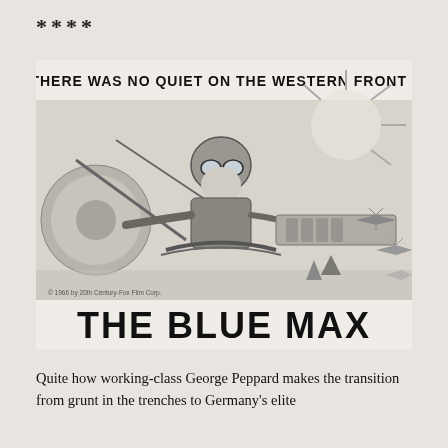****
[Figure (photo): Movie poster for 'The Blue Max' (1966). Black and white illustration showing a World War I fighter pilot in goggles in the cockpit of a biplane during aerial combat with explosions. Text reads 'THERE WAS NO QUIET ON THE WESTERN FRONT!' at the top and 'THE BLUE MAX' in large bold letters at the bottom. Copyright credit: '© 1966 by 20th Century-Fox Film Corp.']
Quite how working-class George Peppard makes the transition from grunt in the trenches to Germany's elite